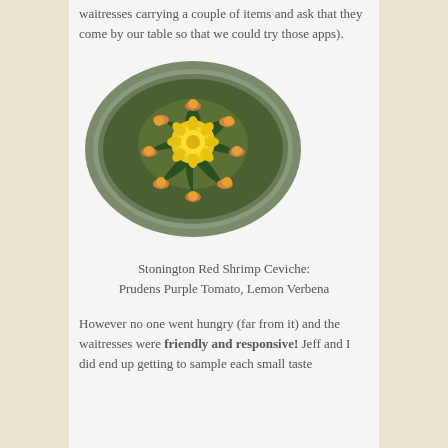waitresses carrying a couple of items and ask that they come by our table so that we could try those apps).
[Figure (photo): A decorative plate of Stonington Red Shrimp Ceviche arranged with green leaves and orange/yellow garnishes, with a large yellow flower in the center.]
Stonington Red Shrimp Ceviche: Prudens Purple Tomato, Lemon Verbena
However no one went hungry (far from it) and the waitresses were friendly and responsive! Jeff and I did end up getting to sample each small taste